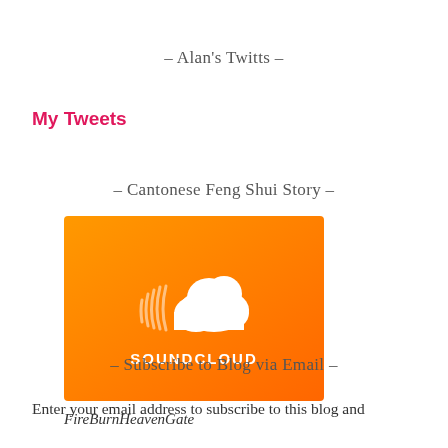- Alan's Twitts -
My Tweets
- Cantonese Feng Shui Story -
[Figure (logo): SoundCloud logo: orange gradient square with white cloud icon and SOUNDCLOUD text below]
FireBurnHeavenGate
- Subscribe to Blog via Email -
Enter your email address to subscribe to this blog and